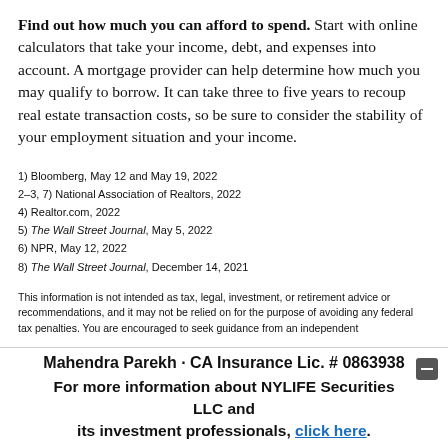Find out how much you can afford to spend. Start with online calculators that take your income, debt, and expenses into account. A mortgage provider can help determine how much you may qualify to borrow. It can take three to five years to recoup real estate transaction costs, so be sure to consider the stability of your employment situation and your income.
1) Bloomberg, May 12 and May 19, 2022
2–3, 7) National Association of Realtors, 2022
4) Realtor.com, 2022
5) The Wall Street Journal, May 5, 2022
6) NPR, May 12, 2022
8) The Wall Street Journal, December 14, 2021
This information is not intended as tax, legal, investment, or retirement advice or recommendations, and it may not be relied on for the purpose of avoiding any federal tax penalties. You are encouraged to seek guidance from an independent
Mahendra Parekh · CA Insurance Lic. # 0863938
For more information about NYLIFE Securities LLC and its investment professionals, click here.